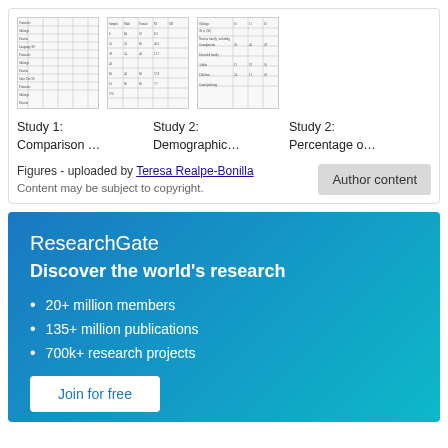[Figure (table-as-image): Three small thumbnail images of tables from Study 1 and Study 2]
Study 1: Comparison …    Study 2: Demographic…    Study 2: Percentage o…
Figures - uploaded by Teresa Realpe-Bonilla
Content may be subject to copyright.
ResearchGate
Discover the world's research
20+ million members
135+ million publications
700k+ research projects
Join for free